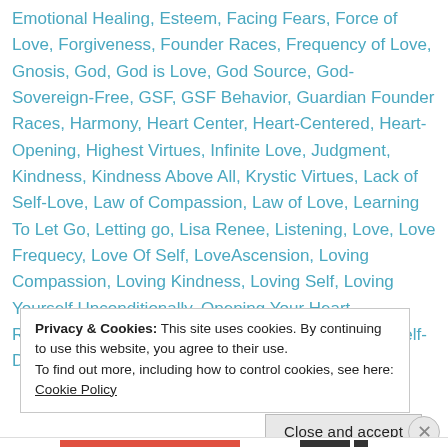Emotional Healing, Esteem, Facing Fears, Force of Love, Forgiveness, Founder Races, Frequency of Love, Gnosis, God, God is Love, God Source, God-Sovereign-Free, GSF, GSF Behavior, Guardian Founder Races, Harmony, Heart Center, Heart-Centered, Heart-Opening, Highest Virtues, Infinite Love, Judgment, Kindness, Kindness Above All, Krystic Virtues, Lack of Self-Love, Law of Compassion, Law of Love, Learning To Let Go, Letting go, Lisa Renee, Listening, Love, Love Frequecy, Love Of Self, LoveAscension, Loving Compassion, Loving Kindness, Loving Self, Loving Yourself Unconditionally, Opening Your Heart, Relationships, Releasing Blame, Self-Connection, Self-Dignity, Self-Esteem, Self-
Privacy & Cookies: This site uses cookies. By continuing to use this website, you agree to their use. To find out more, including how to control cookies, see here: Cookie Policy